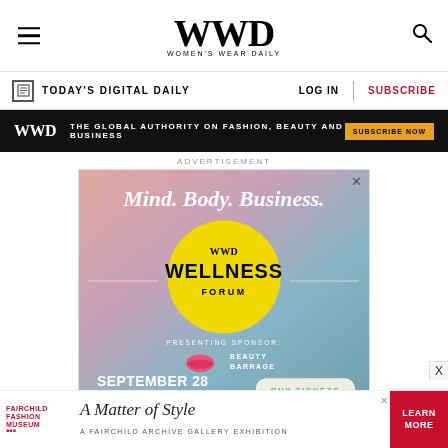WWD — Women's Wear Daily
TODAY'S DIGITAL DAILY | LOG IN | SUBSCRIBE
WWD THE GLOBAL AUTHORITY ON FASHION, BEAUTY AND BUSINESS | SUBSCRIBE NOW
ADVERTISEMENT
[Figure (infographic): WWD Wellness Forum advertisement featuring Mind. Body. Business. headline with yellow circle logo, presenting sponsor Beauty Barrage, September 28 at One Liberty Plaza, Buy Tickets button]
[Figure (infographic): Fairchild Fashion Museum banner ad: A Matter of Style - A Fairchild Archive Gallery Exhibition, Learn More button]